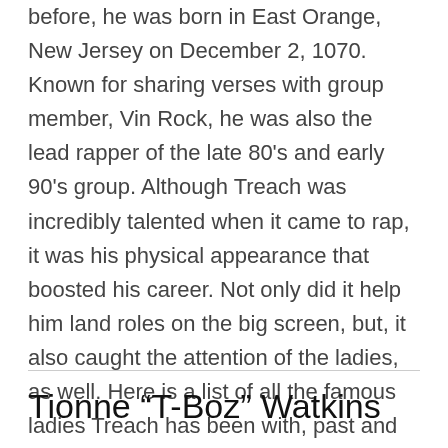before, he was born in East Orange, New Jersey on December 2, 1070. Known for sharing verses with group member, Vin Rock, he was also the lead rapper of the late 80's and early 90's group. Although Treach was incredibly talented when it came to rap, it was his physical appearance that boosted his career. Not only did it help him land roles on the big screen, but, it also caught the attention of the ladies, as well. Here is a list of all the famous ladies Treach has been with, past and present.
Tionne “T-Boz” Watkins